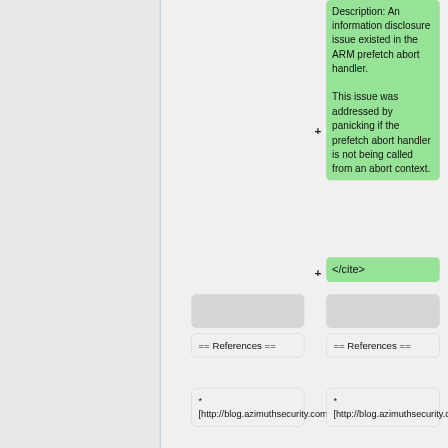Description: An information disclosure issue existed in the ARM prefetch abort handler. This issue was addressed by panicking if the prefetch abort handler is not being called from an abort context.
</cite>
== References ==
== References ==
* [http://blog.azimuthsecurity.com/2
* [http://blog.azimuthsecurity.com/2